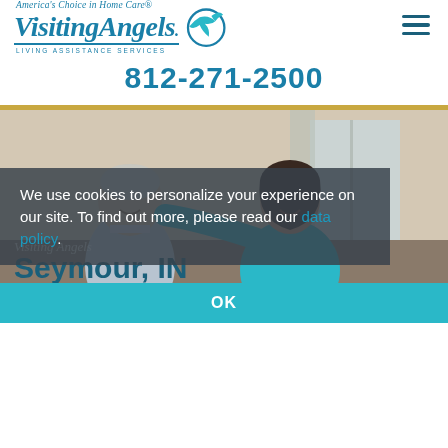[Figure (logo): Visiting Angels logo with bird and tagline 'America's Choice in Home Care, Living Assistance Services']
812-271-2500
[Figure (photo): Caregiver in teal polo shirt sitting with elderly man, smiling, home care setting]
We use cookies to personalize your experience on our site. To find out more, please read our data policy.
Visiting Angels
Seymour, IN
Serving Jackson and Scott Counties and the Surrounding Area
OK